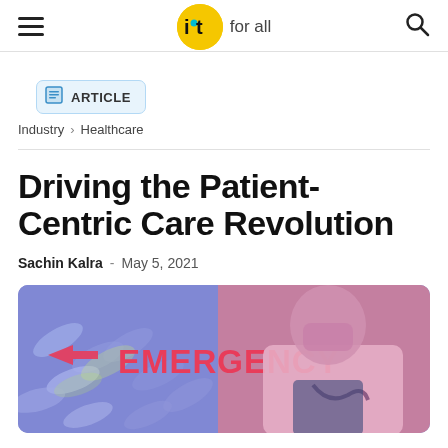IoT for all
ARTICLE
Industry > Healthcare
Driving the Patient-Centric Care Revolution
Sachin Kalra - May 5, 2021
[Figure (photo): Healthcare emergency scene with a doctor wearing pink scrubs and a stethoscope, and an EMERGENCY sign with an arrow in the background, with a blue/purple tint overlay.]